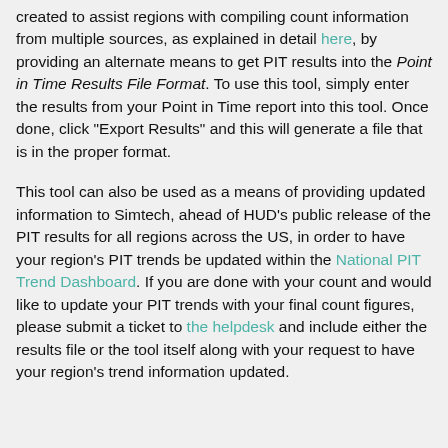created to assist regions with compiling count information from multiple sources, as explained in detail here, by providing an alternate means to get PIT results into the Point in Time Results File Format. To use this tool, simply enter the results from your Point in Time report into this tool. Once done, click "Export Results" and this will generate a file that is in the proper format.
This tool can also be used as a means of providing updated information to Simtech, ahead of HUD's public release of the PIT results for all regions across the US, in order to have your region's PIT trends be updated within the National PIT Trend Dashboard. If you are done with your count and would like to update your PIT trends with your final count figures, please submit a ticket to the helpdesk and include either the results file or the tool itself along with your request to have your region's trend information updated.